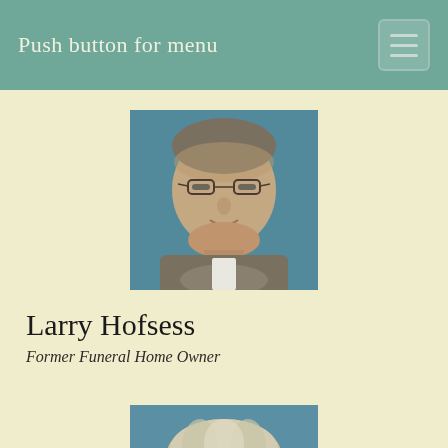Push button for menu
[Figure (photo): Headshot of a middle-aged man with glasses and graying hair, wearing a blazer, against a blue-teal background.]
Larry Hofsess
Former Funeral Home Owner
[Figure (photo): Partial headshot of a person with short blonde/gray hair, partially visible at the bottom of the page.]